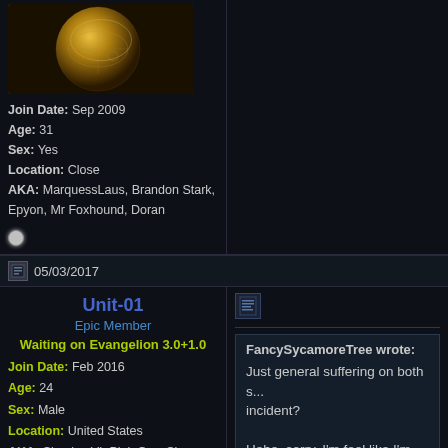[Figure (photo): Circular golden avatar image resembling a cosmic/planetary object with grid lines]
Join Date: Sep 2009
Age: 31
Sex: Yes
Location: Close
AKA: MarquessLaus, Brandon Stark, Epyon, Mr Foxhound, Doran
05/03/2017
Unit-01
Epic Member
Waiting on Evangelion 3.0+1.0
Join Date: Feb 2016
Age: 24
Sex: Male
Location: United States
AKA: Sicarius VI, Pink Guy, Sic, Anthony
FancySycamoreTree wrote:
Just general suffering on both s... incident?

Hehe, sorry, I'm feel like I'm bei...
Yea I feel like it was more directed to apply to them.
Also just considering what Zack wa... intended to die.